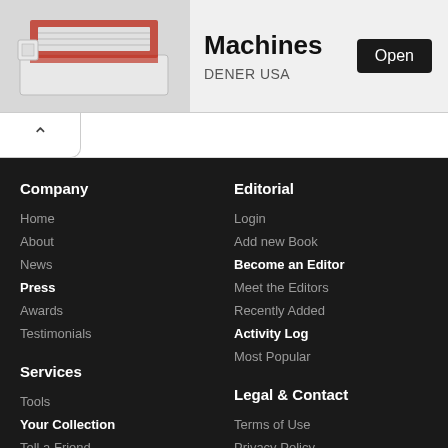[Figure (photo): Photo of a laser cutting machine (CNC router) with red accents on a white base, shown at an angle]
Machines
DENER USA
Open
Company
Home
About
News
Press
Awards
Testimonials
Editorial
Login
Add new Book
Become an Editor
Meet the Editors
Recently Added
Activity Log
Most Popular
Services
Tools
Your Collection
Tell a Friend
Bookmark Us
Legal & Contact
Terms of Use
Privacy Policy
Contact Us
Advertise